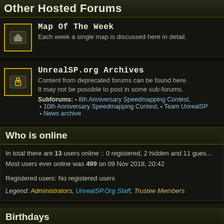Other Hosted Forums
Map Of The Week
Each week a single map is discussed here in detail.
UnrealSP.org Archives
Content from deprecated forums can be found here.
It may not be possible to post in some sub-forums.
Subforums: 8th Anniversary Speedmapping Contest, 10th Anniversary Speedmapping Contest, Team UnrealSP, News archive
Who is online
In total there are 13 users online :: 0 registered, 2 hidden and 11 guests
Most users ever online was 499 on 09 Nov 2018, 20:42
Registered users: No registered users
Legend: Administrators, UnrealSP.Org Staff, Trustee Members
Birthdays
No birthdays today.